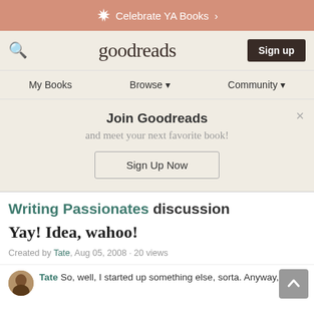✳ Celebrate YA Books ›
goodreads — Sign up — My Books — Browse ▼ — Community ▼
Join Goodreads and meet your next favorite book! Sign Up Now
Writing Passionates discussion
Yay! Idea, wahoo!
Created by Tate, Aug 05, 2008 · 20 views
Tate So, well, I started up something else, sorta. Anyway, I